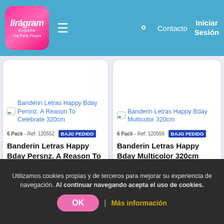[Figure (screenshot): Liragram España – The Party People website header with logo, hamburger menu, search icon, Contacto, and Iniciar Sesión links on blue background]
[Figure (photo): Product card: Banderin Letras Happy Bday Persnz. A Reason To Celebrate 320cm – white card with product image link, 6 Pack Ref 120552, BAJO PEDIDO badge, and product title]
[Figure (photo): Product card: Banderin Letras Happy Bday Multicolor 320cm – white card with product image link, 6 Pack Ref 120556, BAJO PEDIDO badge, and product title]
Utilizamos cookies propias y de terceros para mejorar su experiencia de navegación. Al continuar navegando acepta el uso de cookies.
OK | Más información